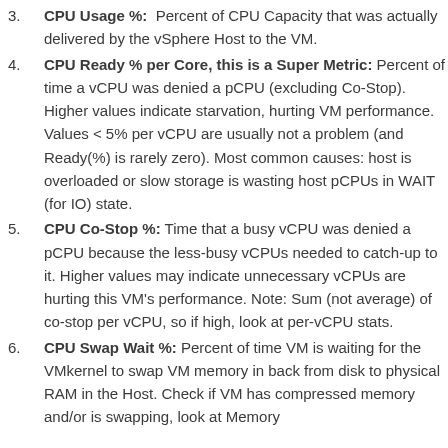CPU Usage %: Percent of CPU Capacity that was actually delivered by the vSphere Host to the VM.
CPU Ready % per Core, this is a Super Metric: Percent of time a vCPU was denied a pCPU (excluding Co-Stop). Higher values indicate starvation, hurting VM performance. Values < 5% per vCPU are usually not a problem (and Ready(%) is rarely zero). Most common causes: host is overloaded or slow storage is wasting host pCPUs in WAIT (for IO) state.
CPU Co-Stop %: Time that a busy vCPU was denied a pCPU because the less-busy vCPUs needed to catch-up to it. Higher values may indicate unnecessary vCPUs are hurting this VM's performance. Note: Sum (not average) of co-stop per vCPU, so if high, look at per-vCPU stats.
CPU Swap Wait %: Percent of time VM is waiting for the VMkernel to swap VM memory in back from disk to physical RAM in the Host. Check if VM has compressed memory and/or is swapping, look at Memory